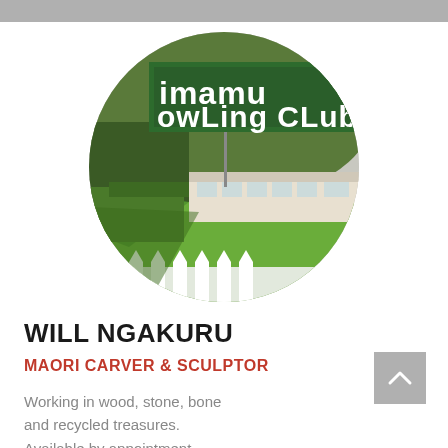[Figure (photo): Circular cropped photo of a bowling club exterior showing a green sign reading 'owLing CLub.' with a bowling green lawn, hedges, and clubhouse building visible in the background. White picket fence at the bottom.]
WILL NGAKURU
MAORI CARVER & SCULPTOR
Working in wood, stone, bone and recycled treasures. Available by appointment.